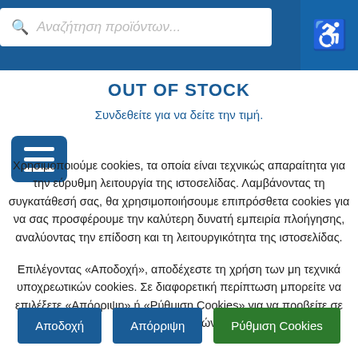Αναζήτηση προϊόντων...
OUT OF STOCK
Συνδεθείτε για να δείτε την τιμή.
Χρησιμοποιούμε cookies, τα οποία είναι τεχνικώς απαραίτητα για την εύρυθμη λειτουργία της ιστοσελίδας. Λαμβάνοντας τη συγκατάθεσή σας, θα χρησιμοποιήσουμε επιπρόσθετα cookies για να σας προσφέρουμε την καλύτερη δυνατή εμπειρία πλοήγησης, αναλύοντας την επίδοση και τη λειτουργικότητα της ιστοσελίδας.
Επιλέγοντας «Αποδοχή», αποδέχεστε τη χρήση των μη τεχνικά υποχρεωτικών cookies. Σε διαφορετική περίπτωση μπορείτε να επιλέξετε «Απόρριψη» ή «Ρύθμιση Cookies» για να προβείτε σε ρύθμιση αυτών.
Αποδοχή
Απόρριψη
Ρύθμιση Cookies